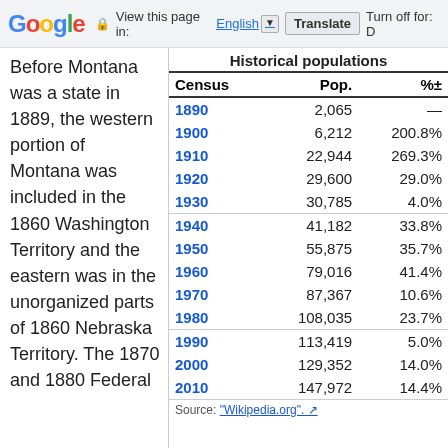Google — View this page in: English | Translate | Turn off for: D
Before Montana was a state in 1889, the western portion of Montana was included in the 1860 Washington Territory and the eastern was in the unorganized parts of 1860 Nebraska Territory. The 1870 and 1880 Federal
| Census | Pop. | %± |
| --- | --- | --- |
| 1890 | 2,065 | — |
| 1900 | 6,212 | 200.8% |
| 1910 | 22,944 | 269.3% |
| 1920 | 29,600 | 29.0% |
| 1930 | 30,785 | 4.0% |
| 1940 | 41,182 | 33.8% |
| 1950 | 55,875 | 35.7% |
| 1960 | 79,016 | 41.4% |
| 1970 | 87,367 | 10.6% |
| 1980 | 108,035 | 23.7% |
| 1990 | 113,419 | 5.0% |
| 2000 | 129,352 | 14.0% |
| 2010 | 147,972 | 14.4% |
Source: "Wikipedia.org". [↗]